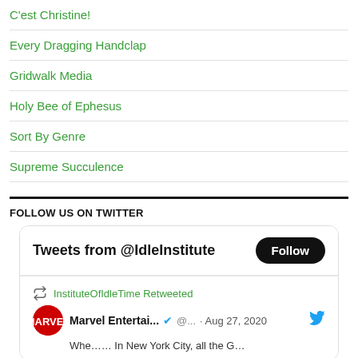C'est Christine!
Every Dragging Handclap
Gridwalk Media
Holy Bee of Ephesus
Sort By Genre
Supreme Succulence
FOLLOW US ON TWITTER
[Figure (screenshot): Twitter widget showing 'Tweets from @IdleInstitute' with a Follow button, and a retweet by InstituteOfIdleTime of a Marvel Entertainment tweet from Aug 27, 2020]